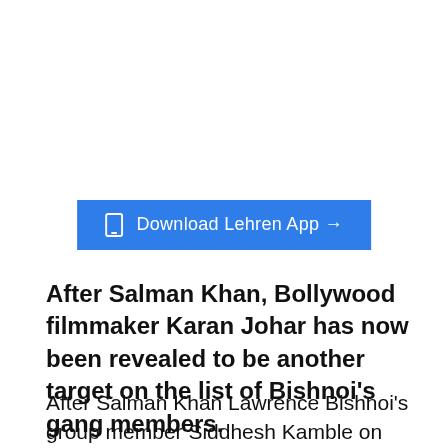[Figure (other): Blue button with phone icon reading 'Download Lehren App →']
After Salman Khan, Bollywood filmmaker Karan Johar has now been revealed to be another target on the list of Bishnoi's gang members.
After Salman Khan Lawrence Bishnoi's group member Siddhesh Kamble on Saturday revealed that Bollywood filmmaker Karan Johar was on